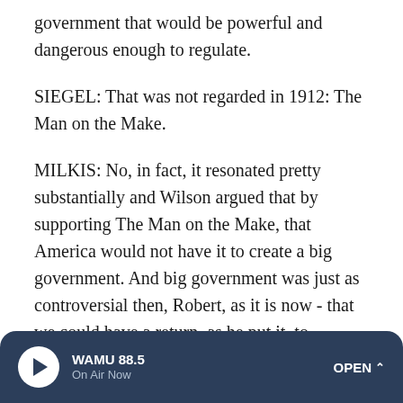government that would be powerful and dangerous enough to regulate.
SIEGEL: That was not regarded in 1912: The Man on the Make.
MILKIS: No, in fact, it resonated pretty substantially and Wilson argued that by supporting The Man on the Make, that America would not have it to create a big government. And big government was just as controversial then, Robert, as it is now - that we could have a return, as he put it, to normality.
SIEGEL: We should add, there was a fourth candidate in 1912, the socialist, Eugene V. Debs.
[Figure (other): WAMU 88.5 radio player bar with play button, station name WAMU 88.5, On Air Now status, and OPEN button]